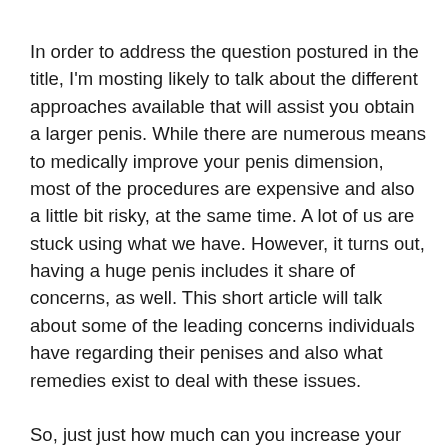In order to address the question postured in the title, I'm mosting likely to talk about the different approaches available that will assist you obtain a larger penis. While there are numerous means to medically improve your penis dimension, most of the procedures are expensive and also a little bit risky, at the same time. A lot of us are stuck using what we have. However, it turns out, having a huge penis includes it share of concerns, as well. This short article will talk about some of the leading concerns individuals have regarding their penises and also what remedies exist to deal with these issues.
So, just just how much can you increase your